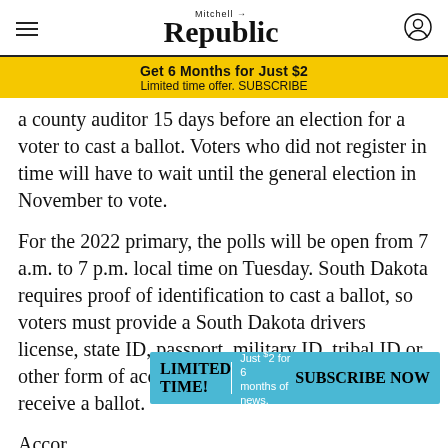Mitchell Republic
Get 6 Months for Just $2
Limited time offer. SUBSCRIBE
a county auditor 15 days before an election for a voter to cast a ballot. Voters who did not register in time will have to wait until the general election in November to vote.
For the 2022 primary, the polls will be open from 7 a.m. to 7 p.m. local time on Tuesday. South Dakota requires proof of identification to cast a ballot, so voters must provide a South Dakota drivers license, state ID, passport, military ID, tribal ID or other form of acceptable ID before they can receive a ballot.
[Figure (infographic): Blue advertisement banner: LIMITED TIME! | Just $2 for 6 months of news. SUBSCRIBE NOW]
Accor... fice,